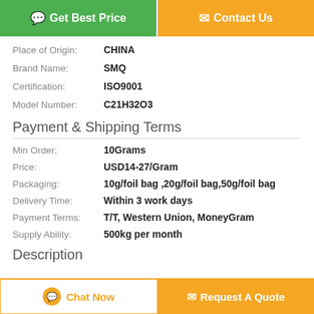[Figure (other): Two call-to-action buttons: 'Get Best Price' (green) and 'Contact Us' (orange)]
| Place of Origin: | CHINA |
| Brand Name: | SMQ |
| Certification: | ISO9001 |
| Model Number: | C21H32O3 |
Payment & Shipping Terms
| Min Order: | 10Grams |
| Price: | USD14-27/Gram |
| Packaging: | 10g/foil bag ,20g/foil bag,50g/foil bag |
| Delivery Time: | Within 3 work days |
| Payment Terms: | T/T, Western Union, MoneyGram |
| Supply Ability: | 500kg per month |
Description
[Figure (other): Bottom action buttons: 'Chat Now' (white/orange outline) and 'Request A Quote' (orange)]